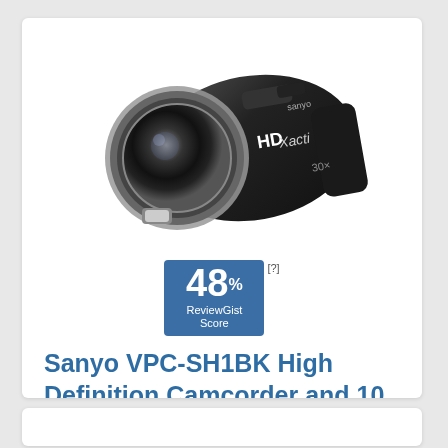[Figure (photo): Sanyo Xacti HD camcorder in black, shown at an angle with large lens visible]
[Figure (infographic): ReviewGist Score badge showing 48% in blue box with 'ReviewGist Score' label below. [?] marker to the right.]
Sanyo VPC-SH1BK High Definition Camcorder and 10 MP Camera Black
Check Offers